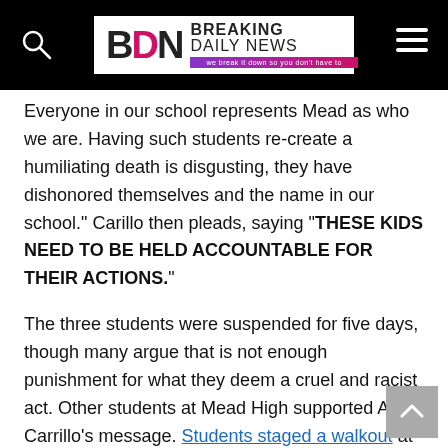Breaking Daily News
Everyone in our school represents Mead as who we are. Having such students re-create a humiliating death is disgusting, they have dishonored themselves and the name in our school." Carillo then pleads, saying "THESE KIDS NEED TO BE HELD ACCOUNTABLE FOR THEIR ACTIONS."
The three students were suspended for five days, though many argue that is not enough punishment for what they deem a cruel and racist act. Other students at Mead High supported Ana Carrillo's message. Students staged a walkout at the high school, including Sarah Steere, the student who sent the original photo to then-principal Rachael Ayers.